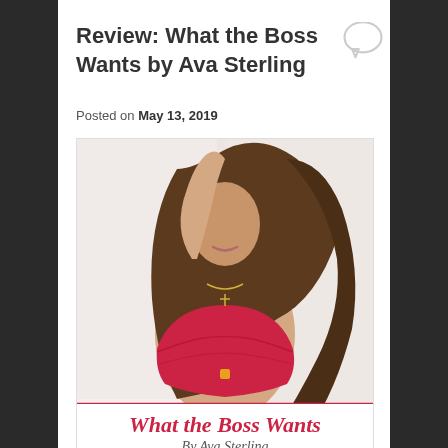Review: What the Boss Wants by Ava Sterling
Posted on May 13, 2019
[Figure (photo): Book cover image for 'What the Boss Wants' by Ava Sterling, featuring a woman in red lingerie with the book title in pink italic script at the bottom.]